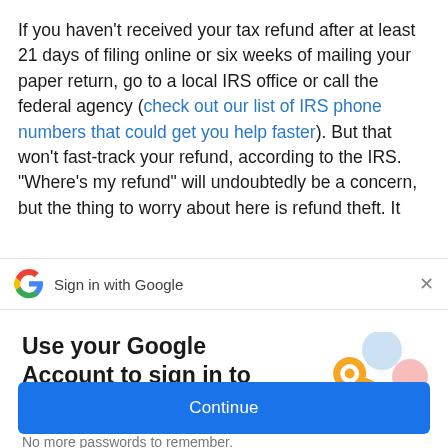If you haven't received your tax refund after at least 21 days of filing online or six weeks of mailing your paper return, go to a local IRS office or call the federal agency (check out our list of IRS phone numbers that could get you help faster). But that won't fast-track your refund, according to the IRS. "Where's my refund" will undoubtedly be a concern, but the thing to worry about here is refund theft. It
Sign in with Google
Use your Google Account to sign in to NerdWallet
No more passwords to remember. Signing in is fast, simple and secure.
[Figure (illustration): Google account illustration with a golden key and colorful circles/icons representing sign-in security]
Continue